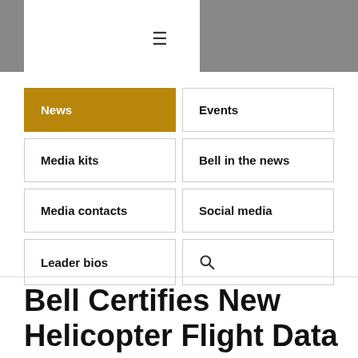≡
News
Events
Media kits
Bell in the news
Media contacts
Social media
Leader bios
Search
Bell Certifies New Helicopter Flight Data Monitoring Device